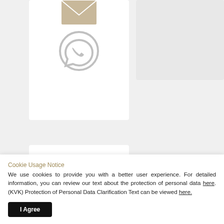[Figure (illustration): White card with envelope icon at top and WhatsApp phone icon below]
[Figure (illustration): Light gray card on the right side]
MOBILE STORE APP
[Figure (other): Google Play store badge - black rounded rectangle with GET IT ON Google Play text and play icon]
[Figure (other): Apple App Store badge - black rounded rectangle with Download on the App Store text and apple icon]
Cookie Usage Notice
We use cookies to provide you with a better user experience. For detailed information, you can review our text about the protection of personal data here. (KVK) Protection of Personal Data Clarification Text can be viewed here.
I Agree